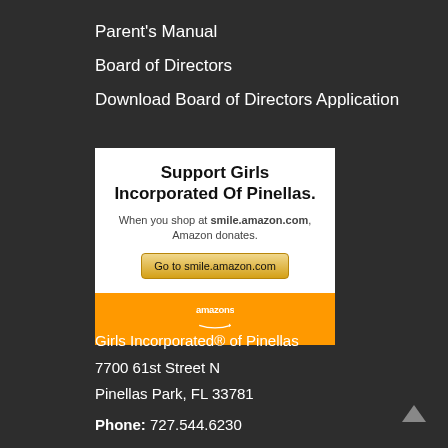Parent's Manual
Board of Directors
Download Board of Directors Application
[Figure (screenshot): Amazon Smile promotional banner with white content area showing 'Support Girls Incorporated Of Pinellas. When you shop at smile.amazon.com, Amazon donates.' and a 'Go to smile.amazon.com' button, and an orange footer with 'amazonsmile' branding]
Girls Incorporated® of Pinellas
7700 61st Street N
Pinellas Park, FL 33781
Phone: 727.544.6230